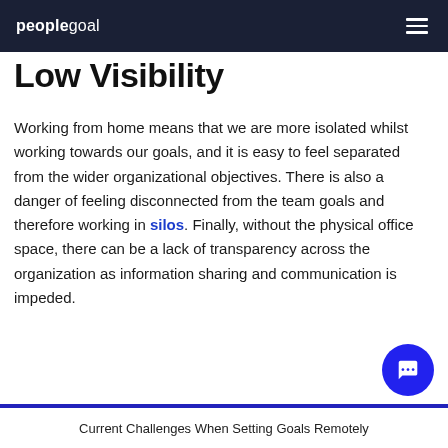peoplegoal
Low Visibility
Working from home means that we are more isolated whilst working towards our goals, and it is easy to feel separated from the wider organizational objectives. There is also a danger of feeling disconnected from the team goals and therefore working in silos. Finally, without the physical office space, there can be a lack of transparency across the organization as information sharing and communication is impeded.
Current Challenges When Setting Goals Remotely